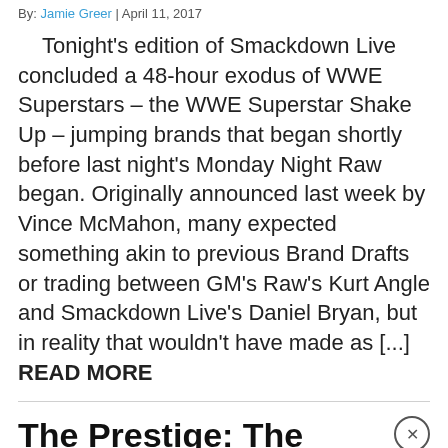By: Jamie Greer | April 11, 2017
Tonight's edition of Smackdown Live concluded a 48-hour exodus of WWE Superstars – the WWE Superstar Shake Up – jumping brands that began shortly before last night's Monday Night Raw began. Originally announced last week by Vince McMahon, many expected something akin to previous Brand Drafts or trading between GM's Raw's Kurt Angle and Smackdown Live's Daniel Bryan, but in reality that wouldn't have made as [...] READ MORE
The Prestige: The WrestleMania Main Event
By: | March 16, 2017